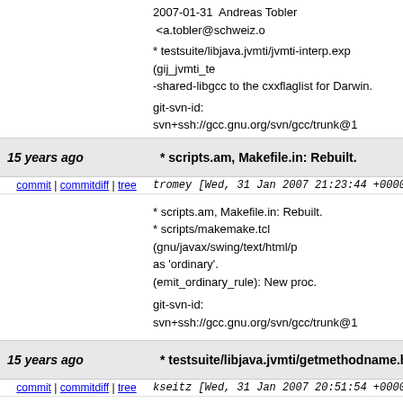2007-01-31  Andreas Tobler  <a.tobler@schweiz.o...

* testsuite/libjava.jvmti/jvmti-interp.exp (gij_jvmti_te...
-shared-libgcc to the cxxflaglist for Darwin.

git-svn-id: svn+ssh://gcc.gnu.org/svn/gcc/trunk@1
15 years ago    * scripts.am, Makefile.in: Rebuilt.
commit | commitdiff | tree    tromey [Wed, 31 Jan 2007 21:23:44 +0000
* scripts.am, Makefile.in: Rebuilt.
* scripts/makemake.tcl (gnu/javax/swing/text/html/p...
as 'ordinary'.
(emit_ordinary_rule): New proc.

git-svn-id: svn+ssh://gcc.gnu.org/svn/gcc/trunk@1
15 years ago    * testsuite/libjava.jvmti/getmethodname.h: New
commit | commitdiff | tree    kseitz [Wed, 31 Jan 2007 20:51:54 +0000
* testsuite/libjava.jvmti/getmethodname.h: New
    * testsuite/libjava.jvmti/getmethodname.jar: N

git-svn-id: svn+ssh://gcc.gnu.org/svn/gcc/trunk@1